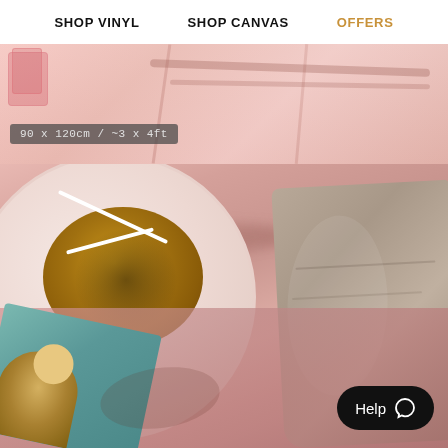SHOP VINYL    SHOP CANVAS    OFFERS
[Figure (photo): Top-down lifestyle photo of a pink table with glassware, cutlery shadows, a cinnamon roll pastry on a pink plate, a folded linen cloth, and an illustrated book/print in the lower left corner]
90 x 120cm / ~3 x 4ft
Help